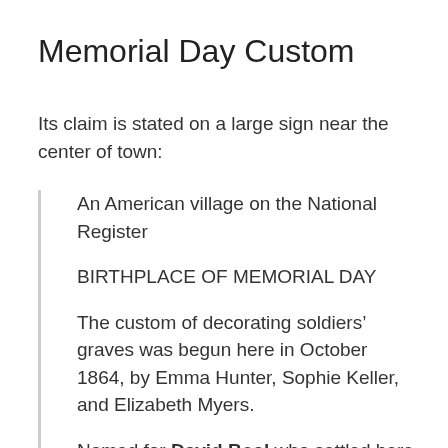Memorial Day Custom
Its claim is stated on a large sign near the center of town:
An American village on the National Register
BIRTHPLACE OF MEMORIAL DAY
The custom of decorating soldiers’ graves was begun here in October 1864, by Emma Hunter, Sophie Keller, and Elizabeth Myers.
Named for David Boal who settled here in